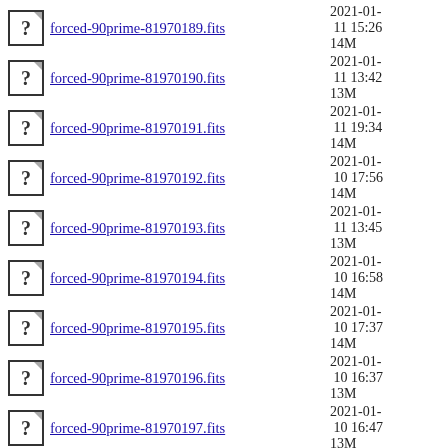forced-90prime-81970189.fits  2021-01-11 15:26  14M
forced-90prime-81970190.fits  2021-01-11 13:42  13M
forced-90prime-81970191.fits  2021-01-11 19:34  14M
forced-90prime-81970192.fits  2021-01-10 17:56  14M
forced-90prime-81970193.fits  2021-01-11 13:45  13M
forced-90prime-81970194.fits  2021-01-10 16:58  14M
forced-90prime-81970195.fits  2021-01-10 17:37  14M
forced-90prime-81970196.fits  2021-01-10 16:37  13M
forced-90prime-81970197.fits  2021-01-10 16:47  13M
legacysurvey_dr9_north_forced-ccd_90prime_81970.sha256sum  2021-05-07 00:44  14K
Apache/2.4.38 (Debian) Server at portal.nersc.gov Port 443